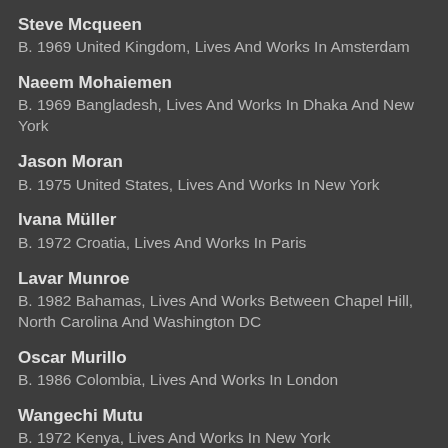Steve Mcqueen
B. 1969 United Kingdom, Lives And Works In Amsterdam
Naeem Mohaiemen
B. 1969 Bangladesh, Lives And Works In Dhaka And New York
Jason Moran
B. 1975 United States, Lives And Works In New York
Ivana Müller
B. 1972 Croatia, Lives And Works In Paris
Lavar Munroe
B. 1982 Bahamas, Lives And Works Between Chapel Hill, North Carolina And Washington DC
Oscar Murillo
B. 1986 Colombia, Lives And Works In London
Wangechi Mutu
B. 1972 Kenya, Lives And Works In New York
Hwayeon Nam
B. 1979 South Korea, Lives And Works In Seoul And Berlin